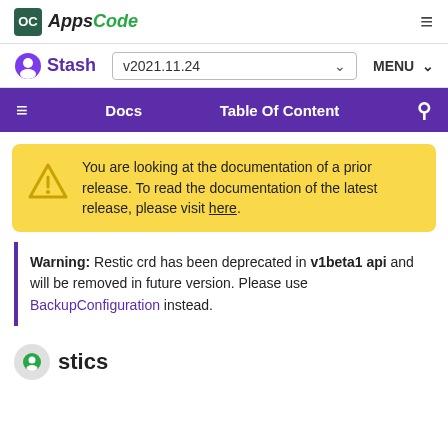AppsCode
Stash v2021.11.24 MENU
Docs  Table Of Content  Search
You are looking at the documentation of a prior release. To read the documentation of the latest release, please visit here.
Warning: Restic crd has been deprecated in v1beta1 api and will be removed in future version. Please use BackupConfiguration instead.
Restics